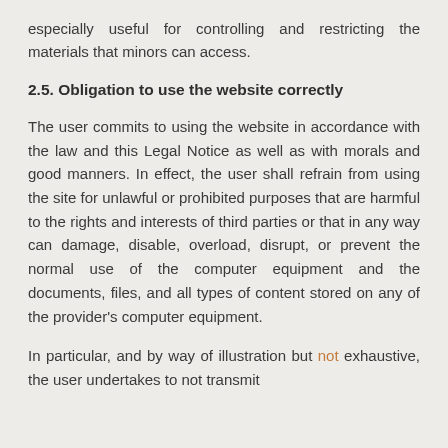especially useful for controlling and restricting the materials that minors can access.
2.5. Obligation to use the website correctly
The user commits to using the website in accordance with the law and this Legal Notice as well as with morals and good manners. In effect, the user shall refrain from using the site for unlawful or prohibited purposes that are harmful to the rights and interests of third parties or that in any way can damage, disable, overload, disrupt, or prevent the normal use of the computer equipment and the documents, files, and all types of content stored on any of the provider's computer equipment.
In particular, and by way of illustration but not exhaustive, the user undertakes to not transmit